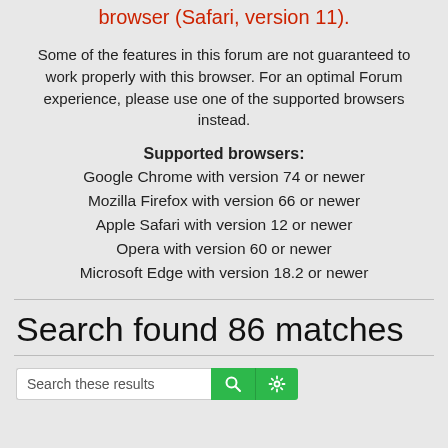browser (Safari, version 11).
Some of the features in this forum are not guaranteed to work properly with this browser. For an optimal Forum experience, please use one of the supported browsers instead.
Supported browsers:
Google Chrome with version 74 or newer
Mozilla Firefox with version 66 or newer
Apple Safari with version 12 or newer
Opera with version 60 or newer
Microsoft Edge with version 18.2 or newer
Search found 86 matches
[Figure (screenshot): Search input bar with search button and settings button]